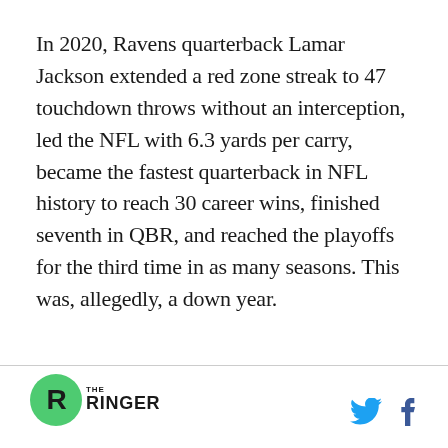In 2020, Ravens quarterback Lamar Jackson extended a red zone streak to 47 touchdown throws without an interception, led the NFL with 6.3 yards per carry, became the fastest quarterback in NFL history to reach 30 career wins, finished seventh in QBR, and reached the playoffs for the third time in as many seasons. This was, allegedly, a down year.
THE RINGER